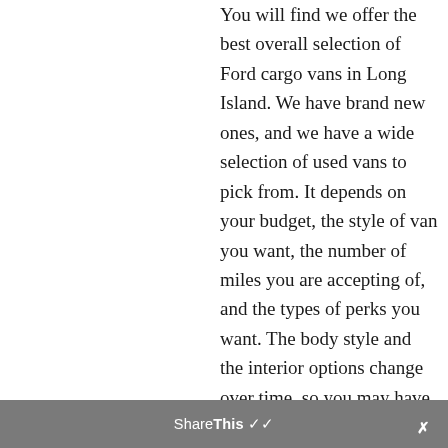You will find we offer the best overall selection of Ford cargo vans in Long Island. We have brand new ones, and we have a wide selection of used vans to pick from. It depends on your budget, the style of van you want, the number of miles you are accepting of, and the types of perks you want. The body style and the interior options change over time, so you may have a preference in mind when it comes to the
ShareThis